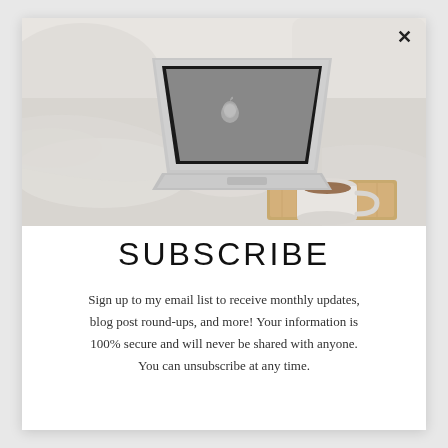[Figure (photo): A MacBook laptop placed on a bed with white rumpled sheets, next to a white coffee cup on a small wooden tray. Soft, minimal, lifestyle aesthetic.]
SUBSCRIBE
Sign up to my email list to receive monthly updates, blog post round-ups, and more! Your information is 100% secure and will never be shared with anyone. You can unsubscribe at any time.